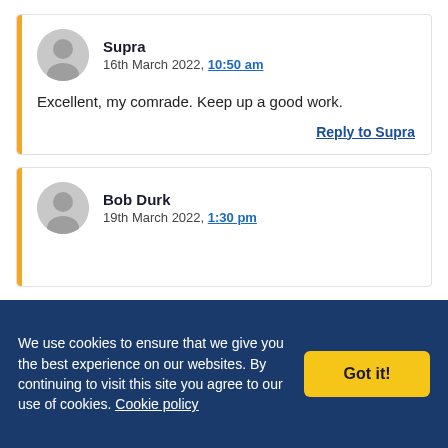Supra
16th March 2022, 10:50 am

Excellent, my comrade. Keep up a good work.

Reply to Supra
Bob Durk
19th March 2022, 1:30 pm
We use cookies to ensure that we give you the best experience on our websites. By continuing to visit this site you agree to our use of cookies. Cookie policy